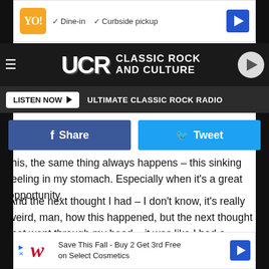[Figure (screenshot): Ad banner at top: Walgreens-style ad with checkmarks for Dine-in and Curbside pickup]
UCR CLASSIC ROCK AND CULTURE
LISTEN NOW ▶  ULTIMATE CLASSIC ROCK RADIO
[Figure (screenshot): Social share row with Facebook Share button and Twitter Tweet button]
this, the same thing always happens – this sinking feeling in my stomach. Especially when it's a great opportunity.
And the next thought I had – I don't know, it's really weird, man, how this happened, but the next thought that went through my head – it was like I had a guardian angel on my shoulder or something, that whispered into my ear and said, "Don't miss enjoying this. Don't let your nerves take away the incredi
[Figure (screenshot): Bottom ad banner: Walgreens Save This Fall - Buy 2 Get 3rd Free on Select Cosmetics]